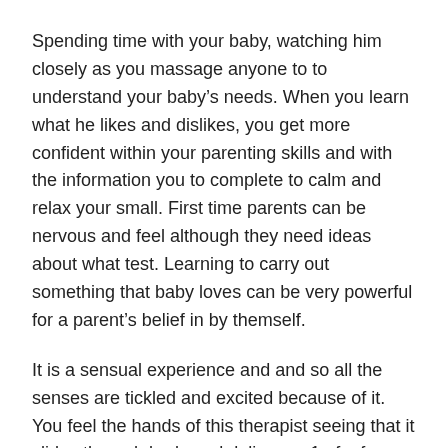Spending time with your baby, watching him closely as you massage anyone to to understand your baby’s needs. When you learn what he likes and dislikes, you get more confident within your parenting skills and with the information you to complete to calm and relax your small. First time parents can be nervous and feel although they need ideas about what test. Learning to carry out something that baby loves can be very powerful for a parent’s belief in by themself.
It is a sensual experience and and so all the senses are tickled and excited because of it. You feel the hands of this therapist seeing that it slides through body and delivers a 1 of a form experience. The darkness helps give mystery but gives just enough glimpse of the partner to excite your body and mind. How can you take this already pleasurable event and kick it up another place? Why not try some trip massage greases.